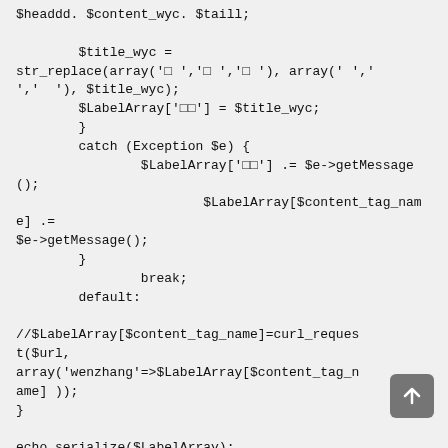$headdd. $content_wyc. $taill;

        $title_wyc =
str_replace(array('□ ','□ ','□ '), array(' ',' ',' '), $title_wyc);
        $LabelArray['□□'] = $title_wyc;
        }
        catch (Exception $e) {
                $LabelArray['□□'] .= $e->getMessage();
                        $LabelArray[$content_tag_name] .= $e->getMessage();
        }
                break;
        default:

//$LabelArray[$content_tag_name]=curl_request($url,
array('wenzhang'=>$LabelArray[$content_tag_name] ));
}

echo serialize($LabelArray);